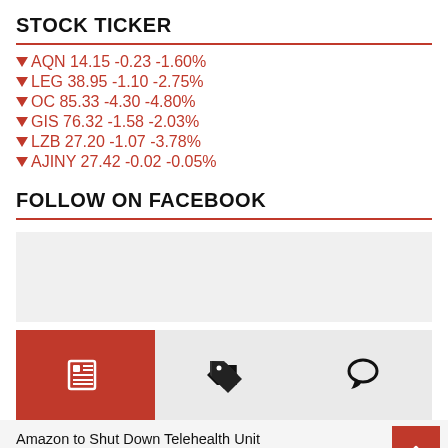STOCK TICKER
↓ AQN 14.15 -0.23 -1.60%
↓ LEG 38.95 -1.10 -2.75%
↓ OC 85.33 -4.30 -4.80%
↓ GIS 76.32 -1.58 -2.03%
↓ LZB 27.20 -1.07 -3.78%
↓ AJINY 27.42 -0.02 -0.05%
FOLLOW ON FACEBOOK
[Figure (other): Gray placeholder box for Facebook follow widget]
[Figure (infographic): Tab bar with three icons: a newspaper/article icon (active, red background), a price tag icon, and a speech bubble/comment icon]
Amazon to Shut Down Telehealth Unit
Bed Bath & Beyond's Challenges Linger After Loan